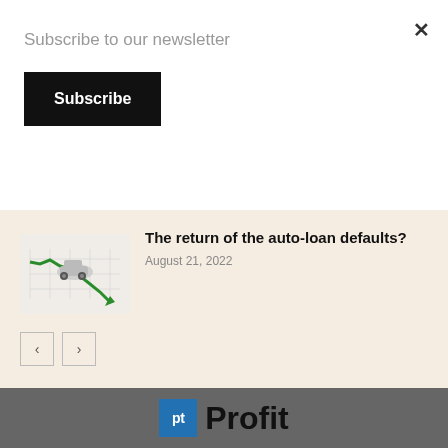×
Subscribe to our newsletter
Subscribe
[Figure (illustration): Car sliding down a green downward arrow chart, representing auto-loan defaults]
The return of the auto-loan defaults?
August 21, 2022
[Figure (logo): pt Profit logo - blue square with pt letters and Profit text in black]